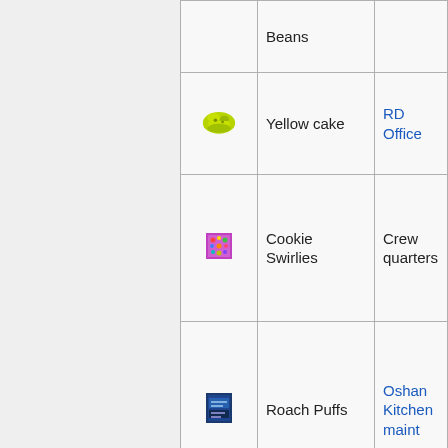| Icon | Name | Location |
| --- | --- | --- |
| [icon] | Beans |  |
| [yellow cake icon] | Yellow cake | RD Office |
| [cookie swirlies icon] | Cookie Swirlies | Crew quarters |
| [roach puffs icon] | Roach Puffs | Oshan Kitchen maint |
| [shredded syndios icon] | Shredded Syndios | GTM, Ocean Listening Post |